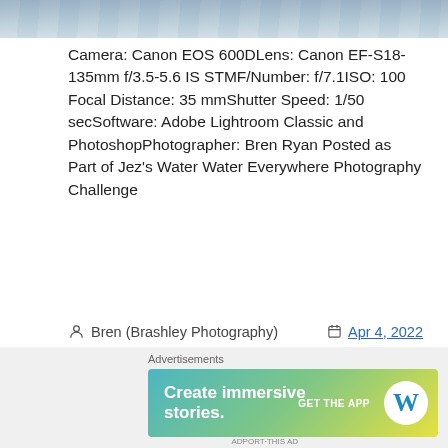[Figure (photo): Partial photo strip at top of page showing sky/clouds in blue-grey tones]
Camera: Canon EOS 600DLens: Canon EF-S18-135mm f/3.5-5.6 IS STMF/Number: f/7.1ISO: 100 Focal Distance: 35 mmShutter Speed: 1/50 secSoftware: Adobe Lightroom Classic and PhotoshopPhotographer: Bren Ryan Posted as Part of Jez's Water Water Everywhere Photography Challenge
Bren (Brashley Photography)   Apr 4, 2022
Photography, Photography Challenge
Castle, Kent, Monochrome, Old Scotney Castle, Powder Paint, Powder Paint Effect, Scotney Castle, Water Water Everywhere, WWE
[Figure (illustration): WordPress advertisement banner: 'Create immersive stories. GET THE APP' with WordPress logo]